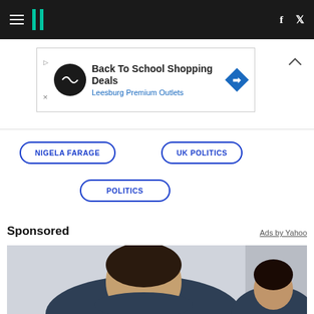HuffPost navigation header with hamburger menu, logo, facebook and twitter icons
[Figure (infographic): Advertisement banner: Back To School Shopping Deals - Leesburg Premium Outlets]
NIGELA FARAGE
UK POLITICS
POLITICS
Sponsored
Ads by Yahoo
[Figure (photo): A smiling woman in dark scrubs, with another person visible in the background, in a medical or healthcare setting]